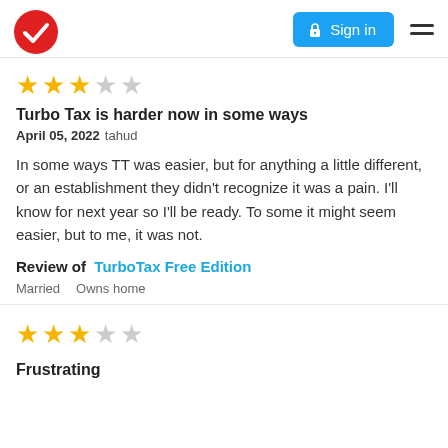Sign in
[Figure (other): 3 out of 5 stars rating]
Turbo Tax is harder now in some ways
April 05, 2022 tahud
In some ways TT was easier, but for anything a little different, or an establishment they didn't recognize it was a pain. I'll know for next year so I'll be ready. To some it might seem easier, but to me, it was not.
Review of  TurboTax Free Edition
Married    Owns home
[Figure (other): 3 out of 5 stars rating]
Frustrating